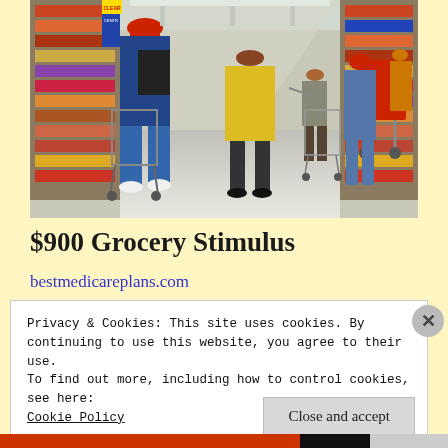[Figure (photo): Interior of a large grocery/retail store (resembling Walmart) with shoppers pushing carts down the main aisle. Several people visible including a person in a blue jacket with red hat pushing a cart in the foreground, a person in a yellow jacket, and others further down the aisle. Store shelves visible on both sides.]
$900 Grocery Stimulus
bestmedicareplans.com
Privacy & Cookies: This site uses cookies. By continuing to use this website, you agree to their use.
To find out more, including how to control cookies, see here:
Cookie Policy
Close and accept